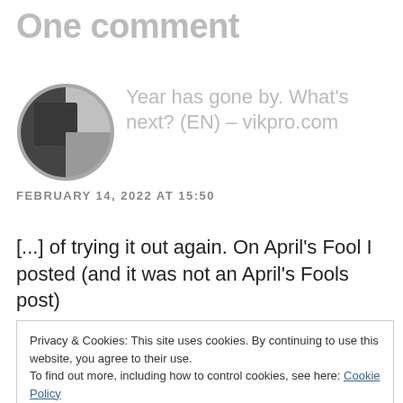One comment
Year has gone by. What's next? (EN) – vikpro.com
FEBRUARY 14, 2022 AT 15:50
[...] of trying it out again. On April's Fool I posted (and it was not an April's Fools post)
Privacy & Cookies: This site uses cookies. By continuing to use this website, you agree to their use.
To find out more, including how to control cookies, see here: Cookie Policy
Close and accept
Like